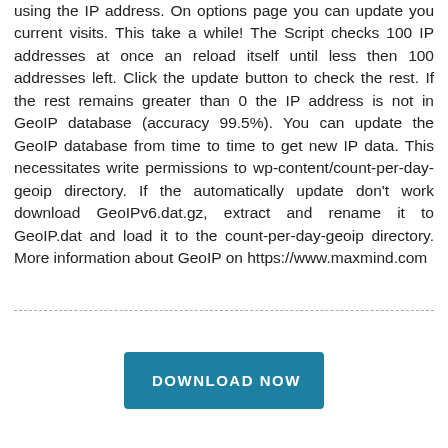using the IP address. On options page you can update you current visits. This take a while! The Script checks 100 IP addresses at once an reload itself until less then 100 addresses left. Click the update button to check the rest. If the rest remains greater than 0 the IP address is not in GeoIP database (accuracy 99.5%). You can update the GeoIP database from time to time to get new IP data. This necessitates write permissions to wp-content/count-per-day-geoip directory. If the automatically update don't work download GeoIPv6.dat.gz, extract and rename it to GeoIP.dat and load it to the count-per-day-geoip directory. More information about GeoIP on https://www.maxmind.com
[Figure (other): Horizontal dashed divider line]
DOWNLOAD NOW